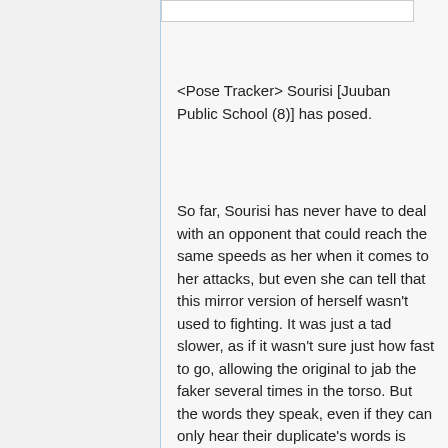<Pose Tracker> Sourisi [Juuban Public School (8)] has posed.
So far, Sourisi has never have to deal with an opponent that could reach the same speeds as her when it comes to her attacks, but even she can tell that this mirror version of herself wasn't used to fighting. It was just a tad slower, as if it wasn't sure just how fast to go, allowing the original to jab the faker several times in the torso. But the words they speak, even if they can only hear their duplicate's words is another matter.